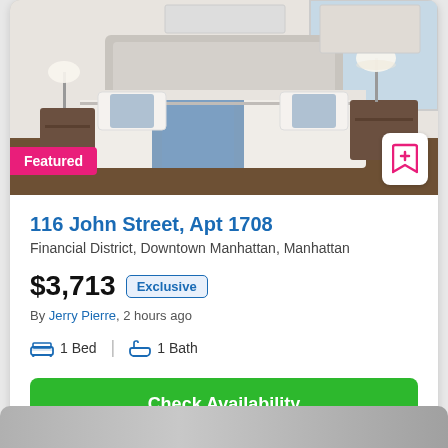[Figure (photo): Bedroom photo showing a made bed with blue and white bedding, gray headboard, nightstand with lamp, and hardwood floors. Featured badge in bottom-left corner.]
116 John Street, Apt 1708
Financial District, Downtown Manhattan, Manhattan
$3,713  Exclusive
By Jerry Pierre, 2 hours ago
1 Bed  |  1 Bath
Check Availability